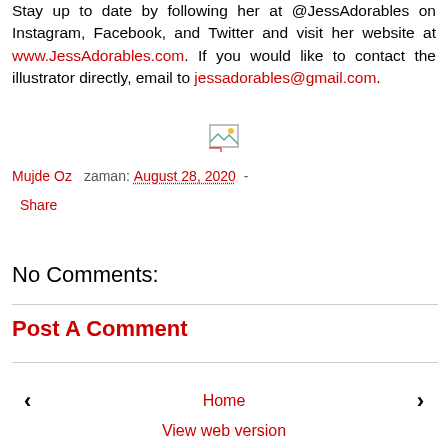Stay up to date by following her at @JessAdorables on Instagram, Facebook, and Twitter and visit her website at www.JessAdorables.com. If you would like to contact the illustrator directly, email to jessadorables@gmail.com.
[Figure (photo): Broken image placeholder icon]
Mujde Oz   zaman: August 28, 2020  -
Share
No Comments:
Post A Comment
‹   Home   ›
View web version